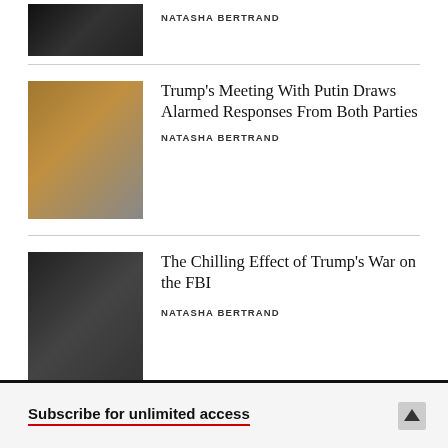[Figure (photo): Partial top photo, dark scene, article image (cropped)]
NATASHA BERTRAND
[Figure (photo): Trump and Putin shaking hands at summit, flags in background]
Trump’s Meeting With Putin Draws Alarmed Responses From Both Parties
NATASHA BERTRAND
[Figure (photo): Trump and Pence standing at official event, FBI-related article]
The Chilling Effect of Trump’s War on the FBI
NATASHA BERTRAND
Subscribe for unlimited access